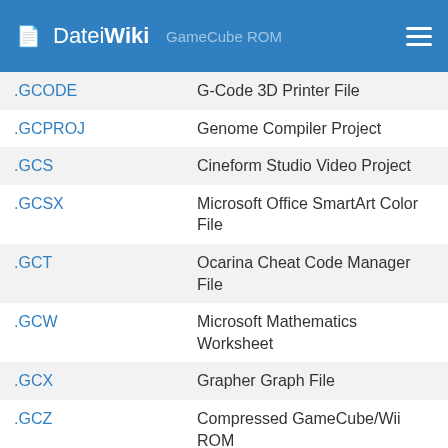DateiWiki
| Extension | Description |
| --- | --- |
| .GCODE | G-Code 3D Printer File |
| .GCPROJ | Genome Compiler Project |
| .GCS | Cineform Studio Video Project |
| .GCSX | Microsoft Office SmartArt Color File |
| .GCT | Ocarina Cheat Code Manager File |
| .GCW | Microsoft Mathematics Worksheet |
| .GCX | Grapher Graph File |
| .GCZ | Compressed GameCube/Wii ROM |
| .GDB | GPS Database File |
| .GDBTABLE | Geodatabase Table File |